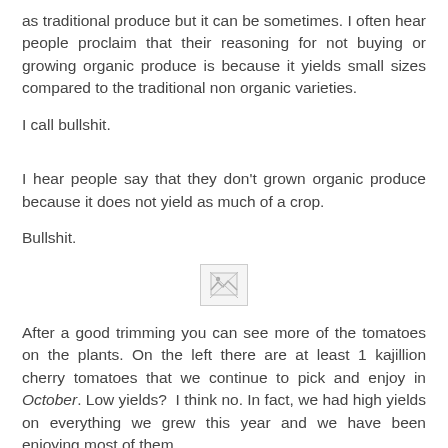as traditional produce but it can be sometimes. I often hear people proclaim that their reasoning for not buying or growing organic produce is because it yields small sizes compared to the traditional non organic varieties.
I call bullshit.
I hear people say that they don't grown organic produce because it does not yield as much of a crop.
Bullshit.
[Figure (photo): Broken/missing image placeholder icon]
After a good trimming you can see more of the tomatoes on the plants. On the left there are at least 1 kajillion cherry tomatoes that we continue to pick and enjoy in October. Low yields? I think no. In fact, we had high yields on everything we grew this year and we have been enjoying most of them